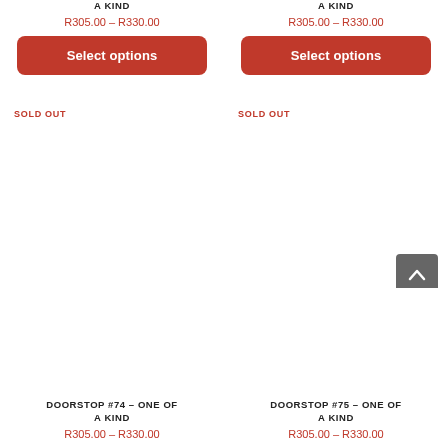A KIND
A KIND
R305.00 – R330.00
R305.00 – R330.00
Select options
Select options
SOLD OUT
SOLD OUT
[Figure (other): Scroll to top button with chevron arrow]
DOORSTOP #74 – ONE OF A KIND
DOORSTOP #75 – ONE OF A KIND
R305.00 – R330.00
R305.00 – R330.00